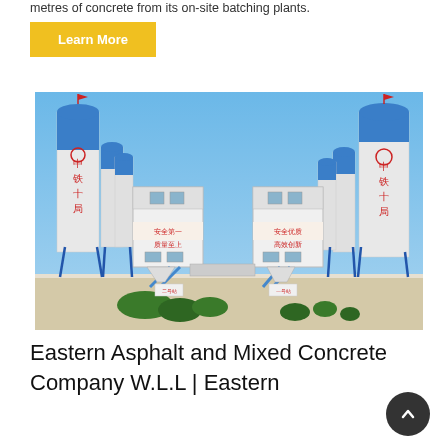metres of concrete from its on-site batching plants.
Learn More
[Figure (photo): Industrial concrete batching plant facility with large white and blue silos marked with Chinese characters (中铁十局), control buildings with red Chinese text signage, and blue steel framework structures, under a clear blue sky.]
Eastern Asphalt and Mixed Concrete Company W.L.L | Eastern